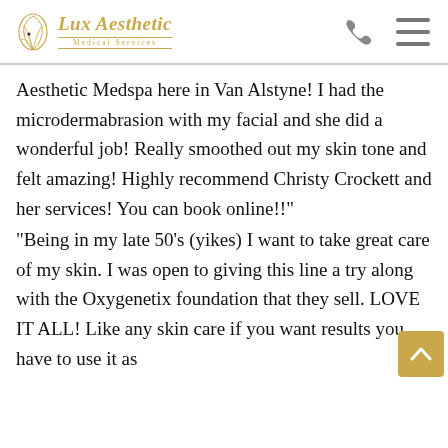Lux Aesthetic Medical Services
Aesthetic Medspa here in Van Alstyne! I had the microdermabrasion with my facial and she did a wonderful job! Really smoothed out my skin tone and felt amazing! Highly recommend Christy Crockett and her services! You can book online!!"
"Being in my late 50's (yikes) I want to take great care of my skin. I was open to giving this line a try along with the Oxygenetix foundation that they sell. LOVE IT ALL! Like any skin care if you want results you have to use it as